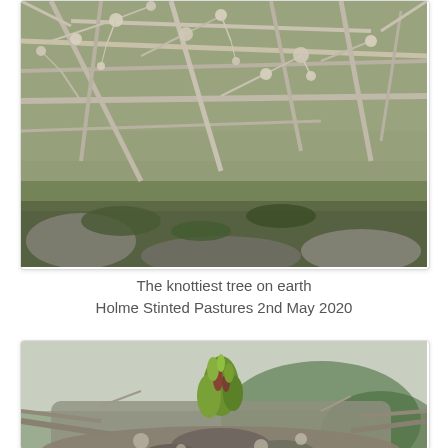[Figure (photo): Close-up photograph of a heavily lichen-covered, extremely gnarled and knotty tree with twisted branches covered in grey-white lichen and moss on green mossy rocks, at Holme Stinted Pastures, 2nd May 2020.]
The knottiest tree on earth
Holme Stinted Pastures 2nd May 2020
[Figure (photo): Close-up photograph of a knotted tree branch with a new spring bud bursting open showing fresh green leaves, with a blurred green landscape in the background, at Holme Stinted Pastures.]